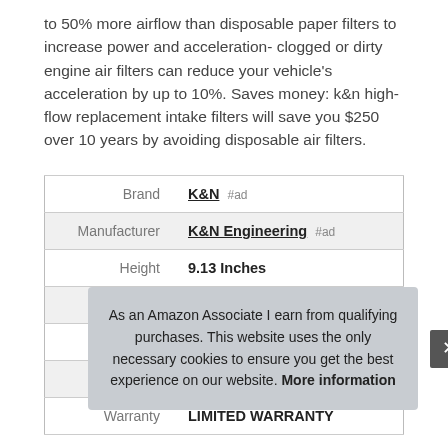to 50% more airflow than disposable paper filters to increase power and acceleration- clogged or dirty engine air filters can reduce your vehicle's acceleration by up to 10%. Saves money: k&n high-flow replacement intake filters will save you $250 over 10 years by avoiding disposable air filters.
|  |  |
| --- | --- |
| Brand | K&N #ad |
| Manufacturer | K&N Engineering #ad |
| Height | 9.13 Inches |
| Length | 4.5 Inches |
| Weight | 0.88 Pounds |
| P |  |
| Warranty | LIMITED WARRANTY |
As an Amazon Associate I earn from qualifying purchases. This website uses the only necessary cookies to ensure you get the best experience on our website. More information